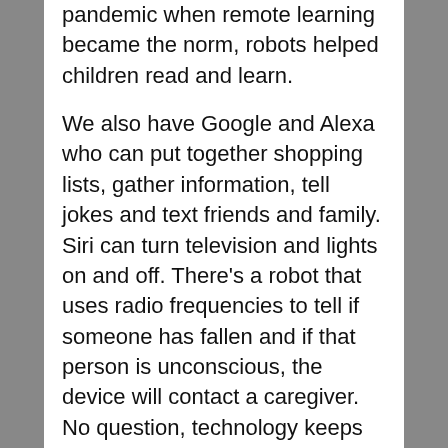pandemic when remote learning became the norm, robots helped children read and learn.
We also have Google and Alexa who can put together shopping lists, gather information, tell jokes and text friends and family. Siri can turn television and lights on and off. There’s a robot that uses radio frequencies to tell if someone has fallen and if that person is unconscious, the device will contact a caregiver. No question, technology keeps advancing so perhaps Target will become the salon of the future. Maybe eventually they can expand into acrylics, gels and pedicures. That might bring me in.